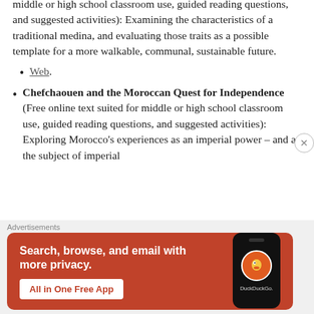middle or high school classroom use, guided reading questions, and suggested activities): Examining the characteristics of a traditional medina, and evaluating those traits as a possible template for a more walkable, communal, sustainable future.
Web.
Chefchaouen and the Moroccan Quest for Independence (Free online text suited for middle or high school classroom use, guided reading questions, and suggested activities): Exploring Morocco's experiences as an imperial power – and as the subject of imperial
[Figure (other): DuckDuckGo advertisement banner: orange/red background with text 'Search, browse, and email with more privacy. All in One Free App' and a smartphone showing the DuckDuckGo logo]